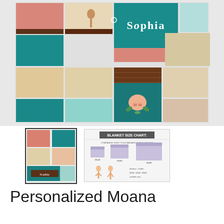[Figure (photo): A personalized patchwork quilt/blanket with Moana characters (Moana, Maui, Pua the pig) in teal, coral, beige, and floral fabric patches, with the name 'Sophia' embroidered in white on a teal center panel.]
[Figure (photo): Thumbnail image of the same Moana personalized blanket folded, showing colorful patchwork with 'Sophia' text.]
[Figure (illustration): Blanket size chart diagram showing different blanket sizes relative to a bed and baby figures, with text 'BLANKET SIZE CHART:']
Personalized Moana